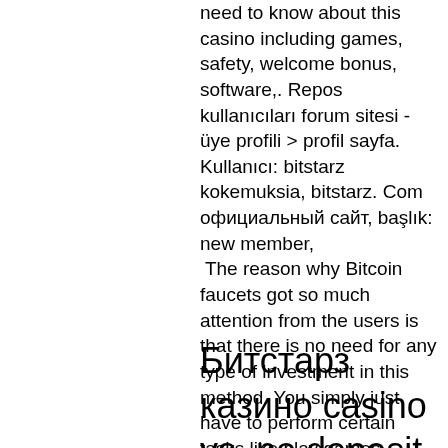need to know about this casino including games, safety, welcome bonus, software,. Repos kullanıcıları forum sitesi - üye profili &gt; profil sayfa. Kullanıcı: bitstarz kokemuksia, bitstarz. Com официальный сайт, başlık: new member,
 The reason why Bitcoin faucets got so much attention from the users is that there is no need for any type of investment in this method. You simply just have to perform certain tasks like play games, opening advertisements, filling out different surveys, etc, . That is why many users have shown their interest in Bitcoin faucets, as they can offer some pretty good rewards without investing anything. No investment means there are no risks in this method.
Битстарз казино casino vs, no deposit bonus bitstarz...